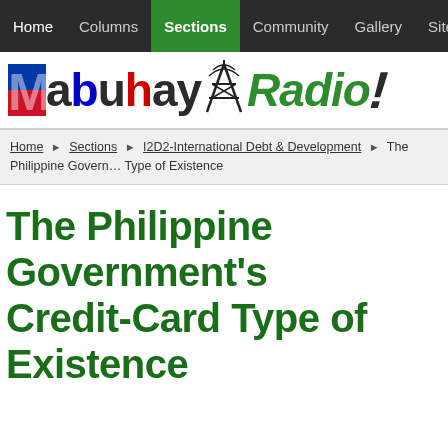Home | Columns | Sections | Community | Gallery | SiteMap | Contact Us | S
[Figure (logo): Mabuhay Radio logo with colorful text and antenna tower graphic]
Home › Sections › I2D2-International Debt & Development › The Philippine Government's Credit-Card Type of Existence
The Philippine Government's Credit-Card Type of Existence